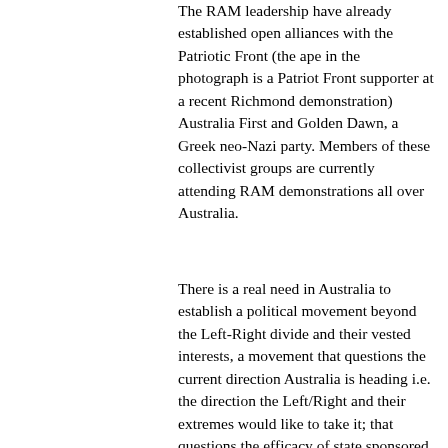The RAM leadership have already established open alliances with the Patriotic Front (the ape in the photograph is a Patriot Front supporter at a recent Richmond demonstration) Australia First and Golden Dawn, a Greek neo-Nazi party. Members of these collectivist groups are currently attending RAM demonstrations all over Australia.
There is a real need in Australia to establish a political movement beyond the Left-Right divide and their vested interests, a movement that questions the current direction Australia is heading i.e. the direction the Left/Right and their extremes would like to take it; that questions the efficacy of state sponsored multiculturalism, as opposed to a proper, non-discriminatory immigration policy; that questions the validity of political correctness; that is politically neutral, anti-war and pro environment; that is opposed to all collectivists ideologies (fascisms of the Left and Right); that would dismantle the power pyramids of corporations and banks and their ability to impact on government; that would dissolve all anti-terror laws and all laws that impose on the rights and freedom of the individual and the people.
(The ape in the photograph is a Patriot Front supporter at a recent Richmond demonstration)